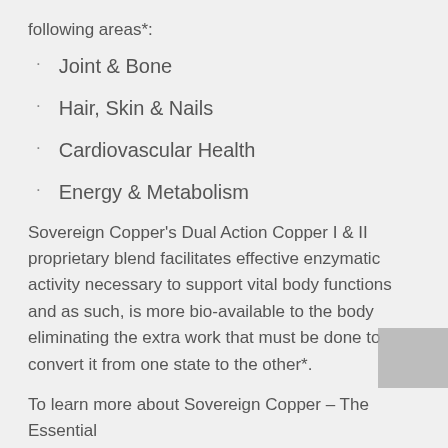following areas*:
Joint & Bone
Hair, Skin & Nails
Cardiovascular Health
Energy & Metabolism
Sovereign Copper's Dual Action Copper I & II proprietary blend facilitates effective enzymatic activity necessary to support vital body functions and as such, is more bio-available to the body eliminating the extra work that must be done to convert it from one state to the other*.
To learn more about Sovereign Copper – The Essential